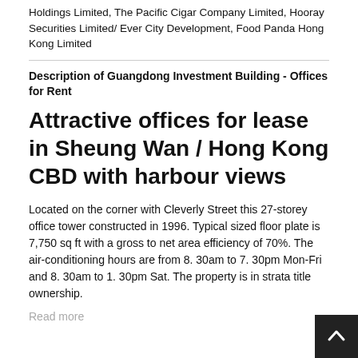Holdings Limited, The Pacific Cigar Company Limited, Hooray Securities Limited/ Ever City Development, Food Panda Hong Kong Limited
Description of Guangdong Investment Building - Offices for Rent
Attractive offices for lease in Sheung Wan / Hong Kong CBD with harbour views
Located on the corner with Cleverly Street this 27-storey office tower constructed in 1996. Typical sized floor plate is 7,750 sq ft with a gross to net area efficiency of 70%. The air-conditioning hours are from 8. 30am to 7. 30pm Mon-Fri and 8. 30am to 1. 30pm Sat. The property is in strata title ownership.
Read more